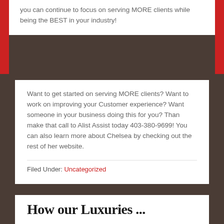you can continue to focus on serving MORE clients while being the BEST in your industry!
Want to get started on serving MORE clients? Want to work on improving your Customer experience? Want someone in your business doing this for you? Than make that call to Alist Assist today 403-380-9699! You can also learn more about Chelsea by checking out the rest of her website.
Filed Under: Uncategorized
How our Lux x pi x i x e x r x ...